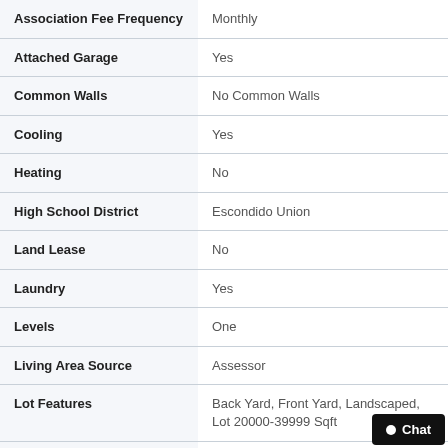| Property | Value |
| --- | --- |
| Association Fee Frequency | Monthly |
| Attached Garage | Yes |
| Common Walls | No Common Walls |
| Cooling | Yes |
| Heating | No |
| High School District | Escondido Union |
| Land Lease | No |
| Laundry | Yes |
| Levels | One |
| Living Area Source | Assessor |
| Lot Features | Back Yard, Front Yard, Landscaped, Lot 20000-39999 Sqft |
| Lot Size Source | Assessor |